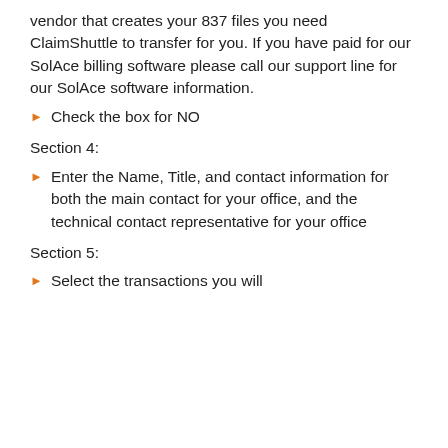vendor that creates your 837 files you need ClaimShuttle to transfer for you. If you have paid for our SolAce billing software please call our support line for our SolAce software information.
Check the box for NO
Section 4:
Enter the Name, Title, and contact information for both the main contact for your office, and the technical contact representative for your office
Section 5:
Select the transactions you will